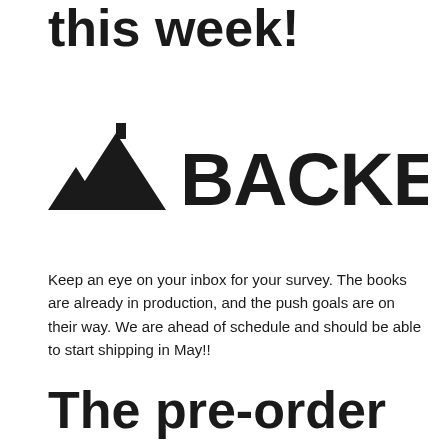this week!
[Figure (logo): BackerKit logo — mountain/triangle icon with flag on top, followed by bold text BACKERKIT]
Keep an eye on your inbox for your survey. The books are already in production, and the push goals are on their way. We are ahead of schedule and should be able to start shipping in May!!
The pre-order store is open for those